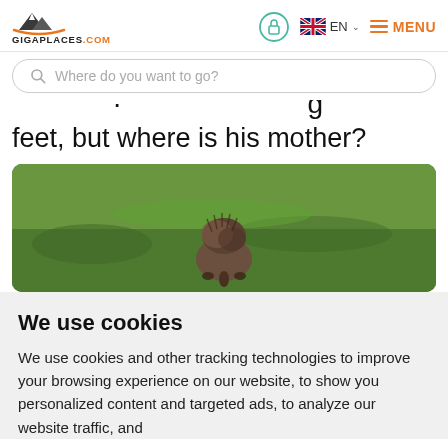GIGAPLACES.COM — EN — MENU
Where do you want to go?
feet, but where is his mother?
[Figure (photo): A young animal (appears to be a hedgehog or small mammal) seen from behind, standing on green grass.]
We use cookies
We use cookies and other tracking technologies to improve your browsing experience on our website, to show you personalized content and targeted ads, to analyze our website traffic, and